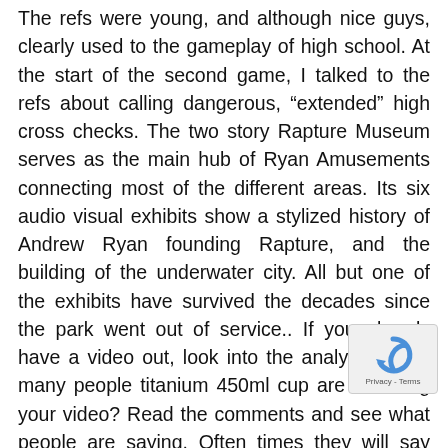The refs were young, and although nice guys, clearly used to the gameplay of high school. At the start of the second game, I talked to the refs about calling dangerous, “extended” high cross checks. The two story Rapture Museum serves as the main hub of Ryan Amusements connecting most of the different areas. Its six audio visual exhibits show a stylized history of Andrew Ryan founding Rapture, and the building of the underwater city. All but one of the exhibits have survived the decades since the park went out of service.. If you already have a video out, look into the analytics. How many people titanium 450ml cup are watching your video? Read the comments and see what people are saying. Often times they will say how they got to this video. AI’m glad you’re asking because too many people have no idea what a “key logger” is. The important thing is to suspect any email that doesn’t make any sense. If your Aunt Carole has never sent you a greeting card before, you might wonder why she’s doing it now. I settled Cheap Jerseys on the Steelcase Leap. The Leap is
[Figure (other): reCAPTCHA widget overlay in bottom-right corner showing the reCAPTCHA cycling arrows logo and 'Privacy - Terms' text]